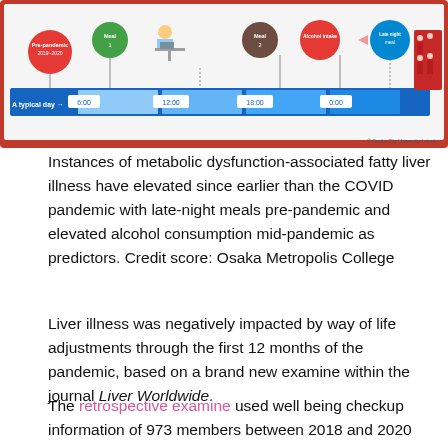[Figure (infographic): Infographic showing a timeline of a typical day from 6:00 to 0:00, with colored circles indicating: pre-pandemic 2019-2020 period, Meal 1, a person at a desk, Meal 2, Alcohol intake, Late night meal, and a group of people silhouettes. A blue bar represents a typical day timeline. Credit: Osaka City University / stock.]
Instances of metabolic dysfunction-associated fatty liver illness have elevated since earlier than the COVID pandemic with late-night meals pre-pandemic and elevated alcohol consumption mid-pandemic as predictors. Credit score: Osaka Metropolis College
Liver illness was negatively impacted by way of life adjustments through the first 12 months of the pandemic, based on a brand new examine within the journal Liver Worldwide.
The retrospective examine used well being checkup information of 973 members between 2018 and 2020 from MedCity21, a complicated medical middle for preventive medication established by Osaka Metropolis College Hospital in 2014, and located that new diagnoses of